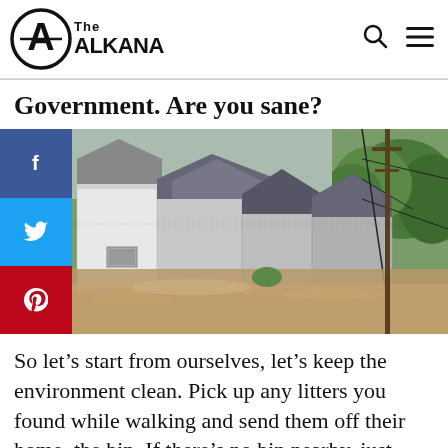The Alkana
Government. Are you sane?
[Figure (photo): Aerial view of a flooded residential neighborhood with houses, rooftops, and streets submerged in brown flood water. Power lines and utility poles visible. Social media share buttons (Facebook, Twitter, Pinterest) on the left side.]
So let’s start from ourselves, let’s keep the environment clean. Pick up any litters you found while walking and send them off their home, the bin. If there’s no bin nearby, just keep it in your pocket and